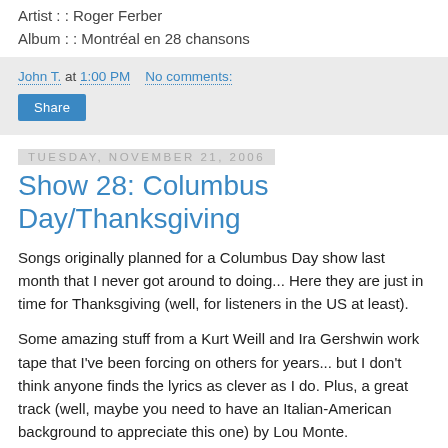Artist : : Roger Ferber
Album : : Montréal en 28 chansons
John T. at 1:00 PM   No comments:
Share
Tuesday, November 21, 2006
Show 28: Columbus Day/Thanksgiving
Songs originally planned for a Columbus Day show last month that I never got around to doing... Here they are just in time for Thanksgiving (well, for listeners in the US at least).
Some amazing stuff from a Kurt Weill and Ira Gershwin work tape that I've been forcing on others for years... but I don't think anyone finds the lyrics as clever as I do. Plus, a great track (well, maybe you need to have an Italian-American background to appreciate this one) by Lou Monte.
The page is cut off at the bottom...